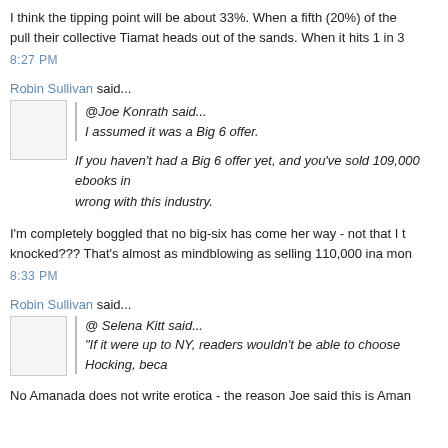I think the tipping point will be about 33%. When a fifth (20%) of the pull their collective Tiamat heads out of the sands. When it hits 1 in 3
8:27 PM
Robin Sullivan said...
@Joe Konrath said...
I assumed it was a Big 6 offer.
If you haven't had a Big 6 offer yet, and you've sold 109,000 ebooks in wrong with this industry.
I'm completely boggled that no big-six has come her way - not that I t knocked??? That's almost as mindblowing as selling 110,000 ina mon
8:33 PM
Robin Sullivan said...
@ Selena Kitt said...
"If it were up to NY, readers wouldn't be able to choose Hocking, beca
No Amanada does not write erotica - the reason Joe said this is Aman